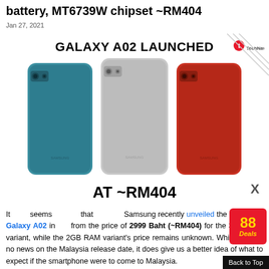battery, MT6739W chipset ~RM404
Jan 27, 2021
[Figure (photo): Samsung Galaxy A02 launched at ~RM404. Three Samsung Galaxy A02 smartphones shown from the back in blue, silver/grey, and red colors. Text overlay: GALAXY A02 LAUNCHED and AT ~RM404. TechNave logo in top right corner.]
It seems that Samsung recently unveiled the Samsung Galaxy A02 in Malaysia from the price of 2999 Baht (~RM404) for the 3GB RAM variant, while the 2GB RAM variant's price remains unknown. While there is no news on the Malaysia release date, it does give us a better idea of what to expect if the smartphone were to come to Malaysia.